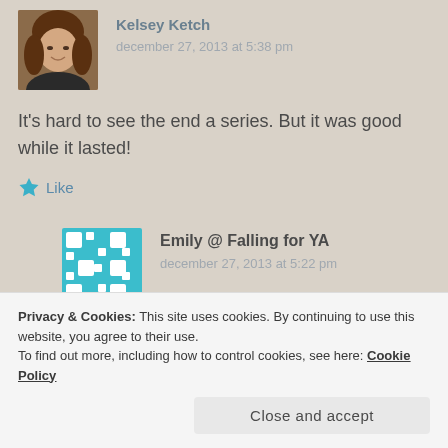[Figure (photo): Profile photo of a woman with brown hair, partially cropped at top of page]
Kelsey Ketch
december 27, 2013 at 5:38 pm
It’s hard to see the end a series. But it was good while it lasted!
★ Like
[Figure (illustration): Teal and white geometric/puzzle pattern avatar for Emily @ Falling for YA]
Emily @ Falling for YA
december 27, 2013 at 5:22 pm
Privacy & Cookies: This site uses cookies. By continuing to use this website, you agree to their use.
To find out more, including how to control cookies, see here: Cookie Policy
Close and accept